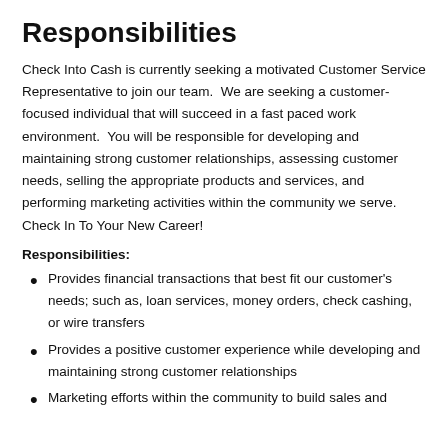Responsibilities
Check Into Cash is currently seeking a motivated Customer Service Representative to join our team.  We are seeking a customer-focused individual that will succeed in a fast paced work environment.  You will be responsible for developing and maintaining strong customer relationships, assessing customer needs, selling the appropriate products and services, and performing marketing activities within the community we serve.  Check In To Your New Career!
Responsibilities:
Provides financial transactions that best fit our customer's needs; such as, loan services, money orders, check cashing, or wire transfers
Provides a positive customer experience while developing and maintaining strong customer relationships
Marketing efforts within the community to build sales and